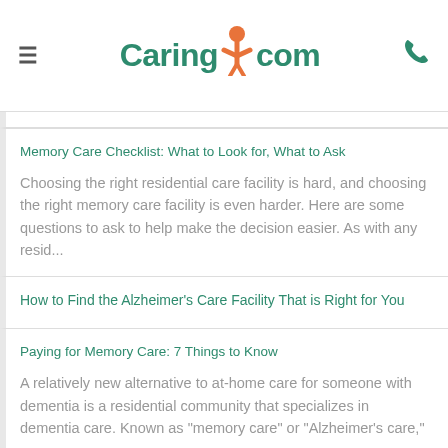Caring.com
Memory Care Checklist: What to Look for, What to Ask
Choosing the right residential care facility is hard, and choosing the right memory care facility is even harder. Here are some questions to ask to help make the decision easier. As with any resid...
How to Find the Alzheimer's Care Facility That is Right for You
Paying for Memory Care: 7 Things to Know
A relatively new alternative to at-home care for someone with dementia is a residential community that specializes in dementia care. Known as "memory care" or "Alzheimer's care,"